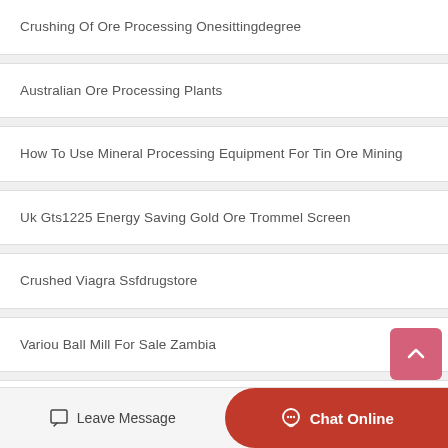Crushing Of Ore Processing Onesittingdegree
Australian Ore Processing Plants
How To Use Mineral Processing Equipment For Tin Ore Mining
Uk Gts1225 Energy Saving Gold Ore Trommel Screen
Crushed Viagra Ssfdrugstore
Variou Ball Mill For Sale Zambia
Complete Mining Machine Ore Plant In Kazakhstan
Plans For Knife Mills Ball Mill In Somalia
Leave Message  Chat Online